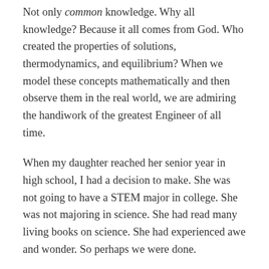Not only common knowledge. Why all knowledge? Because it all comes from God. Who created the properties of solutions, thermodynamics, and equilibrium? When we model these concepts mathematically and then observe them in the real world, we are admiring the handiwork of the greatest Engineer of all time.
When my daughter reached her senior year in high school, I had a decision to make. She was not going to have a STEM major in college. She was not majoring in science. She had read many living books on science. She had experienced awe and wonder. So perhaps we were done.
But I didn't think so. I made a decision to take another